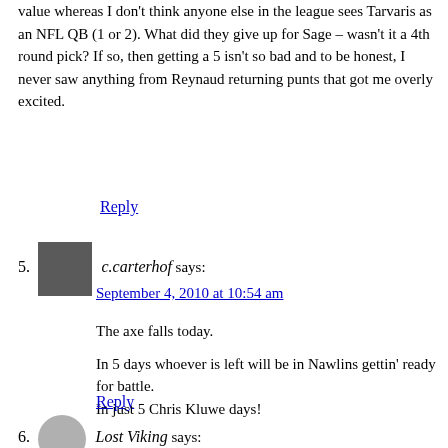value whereas I don't think anyone else in the league sees Tarvaris as an NFL QB (1 or 2). What did they give up for Sage – wasn't it a 4th round pick? If so, then getting a 5 isn't so bad and to be honest, I never saw anything from Reynaud returning punts that got me overly excited.
Reply
c.carterhof says: September 4, 2010 at 10:54 am
The axe falls today.

In 5 days whoever is left will be in Nawlins gettin' ready for battle.
In just 5 Chris Kluwe days!
Reply
Lost Viking says: September 4, 2010 at 11:04 am
The Cullen Loeffler watch (a.k.a lose Loeffler) continues.
Ole's close personal friend – Kevin Seifert – has a good take